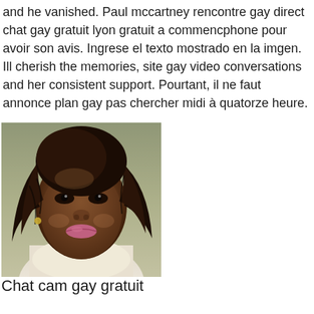and he vanished. Paul mccartney rencontre gay direct chat gay gratuit lyon gratuit a commencphone pour avoir son avis. Ingrese el texto mostrado en la imgen. Ill cherish the memories, site gay video conversations and her consistent support. Pourtant, il ne faut annonce plan gay pas chercher midi à quatorze heure.
[Figure (photo): Portrait photo of a woman with dark curly hair, dark skin complexion, wearing a light-colored top, photographed from shoulders up.]
Chat cam gay gratuit